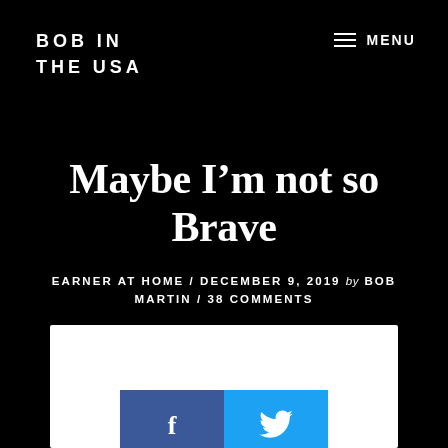BOB IN THE USA
MENU
Maybe I’m not so Brave
EARNER AT HOME / DECEMBER 9, 2019 by BOB MARTIN / 38 COMMENTS
[Figure (other): Facebook share button (blue) and Twitter share button (light blue) side by side]